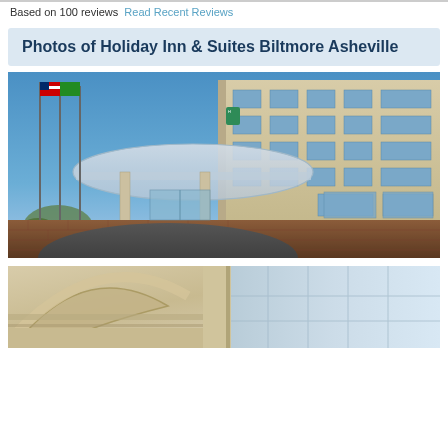Based on 100 reviews  Read Recent Reviews
Photos of Holiday Inn & Suites Biltmore Asheville
[Figure (photo): Exterior photo of Holiday Inn & Suites Biltmore Asheville, showing the hotel entrance with a modern canopy/porte-cochere, flagpoles with American and other flags, multi-story beige/tan building with windows, brick base, and curved driveway. Blue sky in background.]
[Figure (photo): Close-up architectural detail photo of the hotel building showing the curved canopy structure, beige exterior walls with decorative trim, and glass skylight/roof panels from below.]